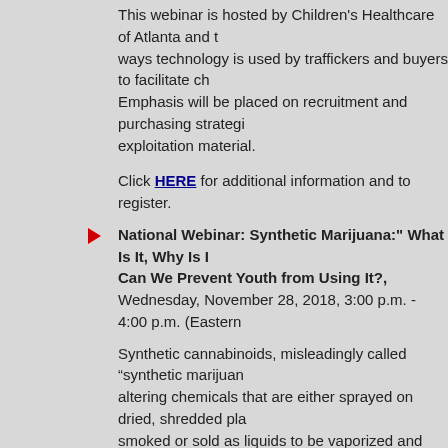This webinar is hosted by Children's Healthcare of Atlanta and ways technology is used by traffickers and buyers to facilitate ch Emphasis will be placed on recruitment and purchasing strategi exploitation material.
Click HERE for additional information and to register.
National Webinar: Synthetic Marijuana:" What Is It, Why Is It, Can We Prevent Youth from Using It?, Wednesday, November 28, 2018, 3:00 p.m. - 4:00 p.m. (Eastern
Synthetic cannabinoids, misleadingly called “synthetic marijuan altering chemicals that are either sprayed on dried, shredded pla smoked or sold as liquids to be vaporized and inhaled in e-ciga
In this webinar, Krista Osterthaler of the American Association o will provide an overview of synthetic cannabinoids and the scop youth. Dr. Seth Ammerman of Stanford University will share his patients who use “synthetic marijuana” and discuss his approac screening for substance use.
Click HERE for more information and to register.
Live Webinar hosted by The Center: Creating Boundaries, Thursday, November 29, 2018, 10:30 a.m. - 11:30 a.m. (Eastern
This webinar will provide an informative overview of the topic.